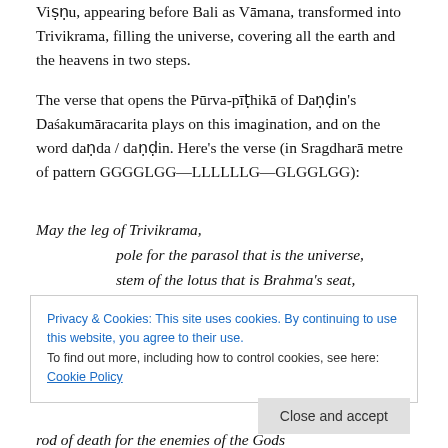Viṣṇu, appearing before Bali as Vāmana, transformed into Trivikrama, filling the universe, covering all the earth and the heavens in two steps.
The verse that opens the Pūrva-pīṭhikā of Daṇḍin's Daśakumāracarita plays on this imagination, and on the word daṇda / daṇḍin. Here's the verse (in Sragdharā metre of pattern GGGGLGG—LLLLLLG—GLGGLGG):
May the leg of Trivikrama,
    pole for the parasol that is the universe,
    stem of the lotus that is Brahma's seat,
Privacy & Cookies: This site uses cookies. By continuing to use this website, you agree to their use.
To find out more, including how to control cookies, see here: Cookie Policy
Close and accept
rod of death for the enemies of the Gods